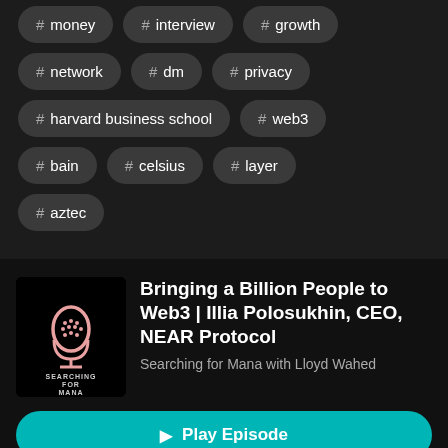# money
# interview
# growth
# network
# dm
# privacy
# harvard business school
# web3
# bain
# celsius
# layer
# aztec
Bringing a Billion People to Web3 | Illia Polosukhin, CEO, NEAR Protocol
Searching for Mana with Lloyd Wahed
Play Episode
Listen Later